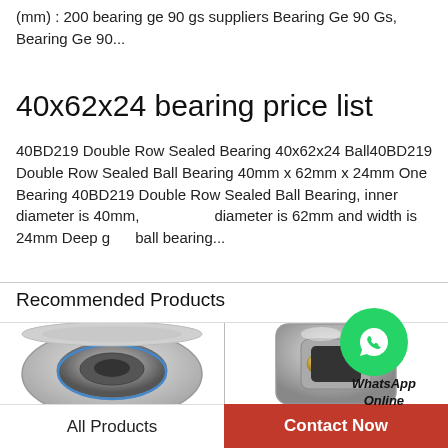(mm) : 200 bearing ge 90 gs suppliers Bearing Ge 90 Gs, Bearing Ge 90...
40x62x24 bearing price list
40BD219 Double Row Sealed Bearing 40x62x24 Ball40BD219 Double Row Sealed Ball Bearing 40mm x 62mm x 24mm One Bearing 40BD219 Double Row Sealed Ball Bearing, inner diameter is 40mm, outer diameter is 62mm and width is 24mm Deep groove ball bearing...
[Figure (logo): WhatsApp green circle icon with phone handset symbol and text 'WhatsApp Online']
Recommended Products
[Figure (photo): Circular ball bearing / clutch release bearing with metallic silver finish, viewed from above]
[Figure (photo): Angular contact ball bearing with gold/silver finish, viewed from side angle]
All Products
Contact Now